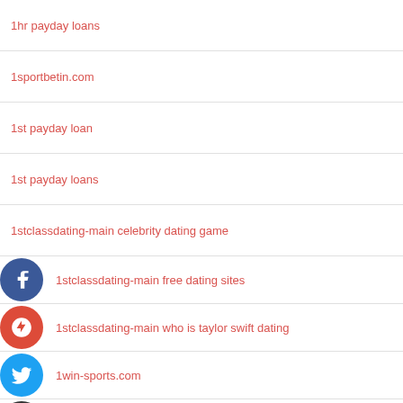1hr payday loans
1sportbetin.com
1st payday loan
1st payday loans
1stclassdating-main celebrity dating game
1stclassdating-main free dating sites
1stclassdating-main who is taylor swift dating
1win-sports.com
1win-sports.com#aviator-1win#
1xslots-online.com